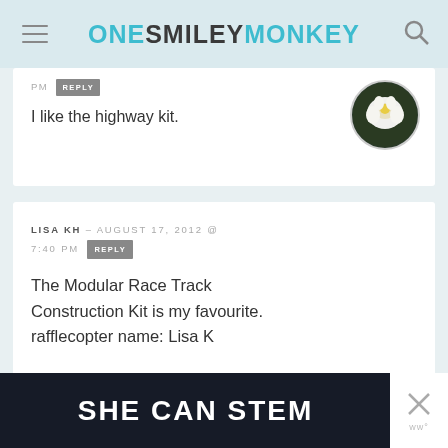ONE SMILEY MONKEY
PM  REPLY
I like the highway kit.
LISA KH - AUGUST 17, 2012 @ 7:40 PM  REPLY
The Modular Race Track Construction Kit is my favourite.
rafflecopter name: Lisa K
[Figure (screenshot): SHE CAN STEM advertisement banner at bottom of page]
[Figure (photo): Circular avatar image of a white flower]